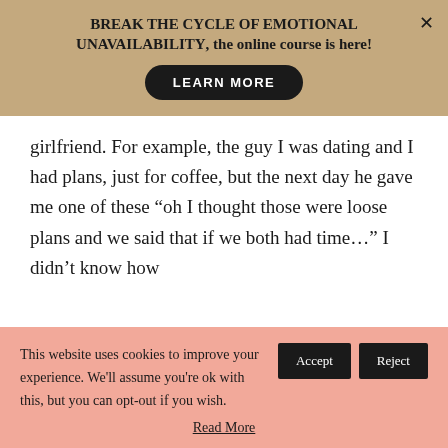BREAK THE CYCLE OF EMOTIONAL UNAVAILABILITY, the online course is here!
LEARN MORE
girlfriend. For example, the guy I was dating and I had plans, just for coffee, but the next day he gave me one of these “oh I thought those were loose plans and we said that if we both had time…” I didn’t know how
This website uses cookies to improve your experience. We'll assume you're ok with this, but you can opt-out if you wish.
Read More